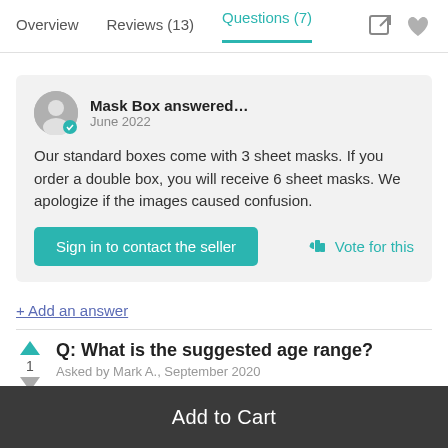Overview   Reviews (13)   Questions (7)
Mask Box answered...
June 2022

Our standard boxes come with 3 sheet masks. If you order a double box, you will receive 6 sheet masks. We apologize if the images caused confusion.
Sign in to contact the seller   Vote for this
+ Add an answer
Q: What is the suggested age range?
Asked by Mark A., September 2020
Add to Cart